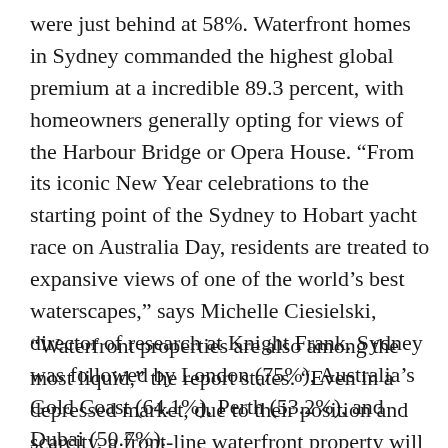were just behind at 58%. Waterfront homes in Sydney commanded the highest global premium at a incredible 89.3 percent, with homeowners generally opting for views of the Harbour Bridge or Opera House. “From its iconic New Year celebrations to the starting point of the Sydney to Hobart yacht race on Australia Day, residents are treated to expansive views of one of the world’s best waterscapes,” says Michelle Ciesielski, director of research at Knight Frank. Sydney was followed by London (75%), Australia’s Gold Coast (64.1%), Perth (53.2%), and Dubai (50.7%).
“Waterfront properties are also among the most liquid,” the report states. “Even in a depressed market, due to their position and scarcity, a front-line waterfront property will face strong demand